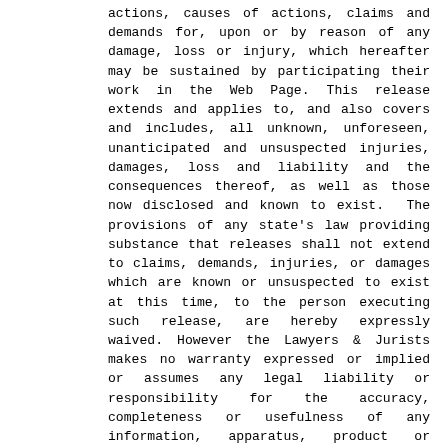actions, causes of actions, claims and demands for, upon or by reason of any damage, loss or injury, which hereafter may be sustained by participating their work in the Web Page. This release extends and applies to, and also covers and includes, all unknown, unforeseen, unanticipated and unsuspected injuries, damages, loss and liability and the consequences thereof, as well as those now disclosed and known to exist.  The provisions of any state's law providing substance that releases shall not extend to claims, demands, injuries, or damages which are known or unsuspected to exist at this time, to the person executing such release, are hereby expressly waived. However the Lawyers & Jurists makes no warranty expressed or implied or assumes any legal liability or responsibility for the accuracy, completeness or usefulness of any information, apparatus, product or process disclosed or represents that its use would not infringe privately owned rights. Reference herein to any specific commercial product process or service by trade name, trade mark, manufacturer or otherwise, does not necessarily constitute or imply its endorsement, recommendation or favouring by the Lawyers & Jurists. The views and opinions of the authors expressed in the